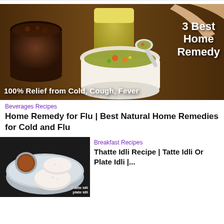[Figure (photo): Food photo showing a bowl of soup with a spoon, two glasses of drinks on a wooden board, with text overlay '3 Best Home Remedy' and '100% Relief from Cold, Cough, Fever']
Beverages Recipes
Home Remedy for Flu | Best Natural Home Remedies for Cold and Flu
[Figure (photo): Photo of thatte idli / plate idli - round flat white idlis on a steel plate with chutney]
Breakfast Recipes
Thatte Idli Recipe | Tatte Idli Or Plate Idli |...